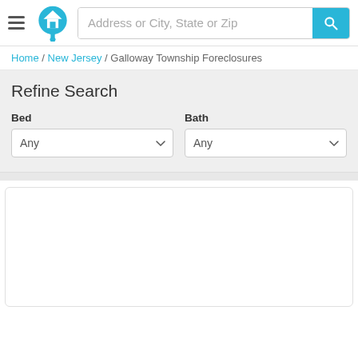Address or City, State or Zip
Home / New Jersey / Galloway Township Foreclosures
Refine Search
Bed — Any (dropdown)
Bath — Any (dropdown)